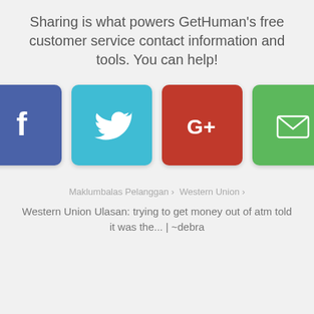Sharing is what powers GetHuman's free customer service contact information and tools. You can help!
[Figure (infographic): Four social sharing buttons: Facebook (blue), Twitter (cyan), Google+ (red), Email (green)]
Maklumbalas Pelanggan › Western Union ›
Western Union Ulasan: trying to get money out of atm told it was the... | ~debra